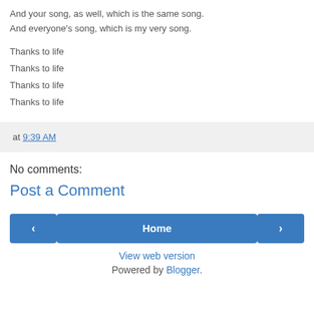And your song, as well, which is the same song.
And everyone's song, which is my very song.
Thanks to life
Thanks to life
Thanks to life
Thanks to life
at 9:39 AM
No comments:
Post a Comment
‹
Home
›
View web version
Powered by Blogger.